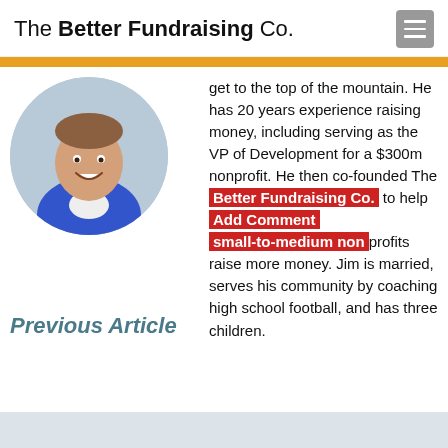The Better Fundraising Co.
[Figure (photo): Circular profile photo of a young man in a blue shirt, smiling]
get to the top of the mountain. He has 20 years experience raising money, including serving as the VP of Development for a $300m nonprofit. He then co-founded The Better Fundraising Co. to help small-to-medium nonprofits raise more money. Jim is married, serves his community by coaching high school football, and has three children.
Add Comment
Previous Article